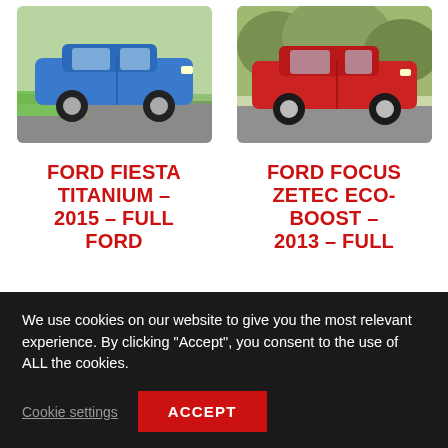[Figure (photo): Blue Ford Fiesta Titanium 2015 hatchback parked on road with green grass background]
[Figure (photo): Red Ford Focus Zetec Eco-Boost 2013 hatchback parked on road with trees/bushes background]
FORD FIESTA TITANIUM – 2015 – FULL FORD SERVICE
FORD FOCUS ZETEC ECO-BOOST – 2013 – FULL SERVICE
We use cookies on our website to give you the most relevant experience. By clicking "Accept", you consent to the use of ALL the cookies.
Cookie settings
ACCEPT